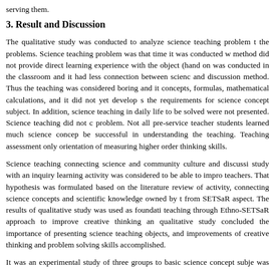serving them.
3. Result and Discussion
The qualitative study was conducted to analyze science teaching problem the problems. Science teaching problem was that time it was conducted with method did not provide direct learning experience with the object (hand on was conducted in the classroom and it had less connection between science and discussion method. Thus the teaching was considered boring and it concepts, formulas, mathematical calculations, and it did not yet develop s the requirements for science concept subject. In addition, science teaching in daily life to be solved were not presented. Science teaching did not d problem. Not all pre-service teacher students learned much science concep be successful in understanding the teaching. Teaching assessment only orientation of measuring higher order thinking skills.
Science teaching connecting science and community culture and discussi study with an inquiry learning activity was considered to be able to impro teachers. That hypothesis was formulated based on the literature review of activity, connecting science concepts and scientific knowledge owned by t from SETSaR aspect. The results of qualitative study was used as foundati teaching through Ethno-SETSaR approach to improve creative thinking an qualitative study concluded the importance of presenting science teaching objects, and improvements of creative thinking and problem solving skills accomplished.
It was an experimental study of three groups to basic science concept subje was conducted in seven meetings. Learning activities blended online and o learning and offline learning activities were used to make sure science mini